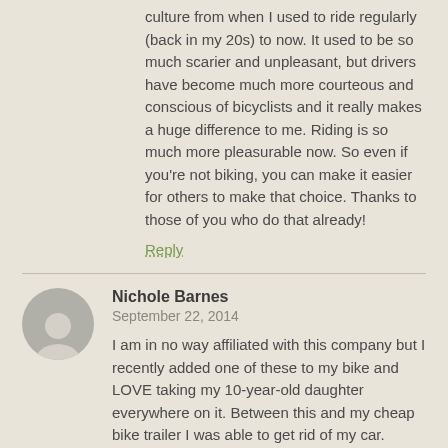culture from when I used to ride regularly (back in my 20s) to now. It used to be so much scarier and unpleasant, but drivers have become much more courteous and conscious of bicyclists and it really makes a huge difference to me. Riding is so much more pleasurable now. So even if you're not biking, you can make it easier for others to make that choice. Thanks to those of you who do that already!
Reply
Nichole Barnes
September 22, 2014
I am in no way affiliated with this company but I recently added one of these to my bike and LOVE taking my 10-year-old daughter everywhere on it. Between this and my cheap bike trailer I was able to get rid of my car. Though it was worth sharing for those of you with older kiddos.
http://www.thebikeseat.com
Reply
Dan